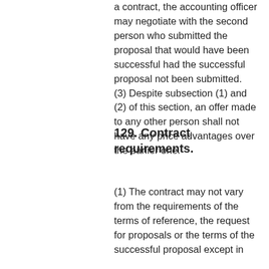a contract, the accounting officer may negotiate with the second person who submitted the proposal that would have been successful had the successful proposal not been submitted. (3) Despite subsection (1) and (2) of this section, an offer made to any other person shall not have any price advantages over the earlier one.
129. Contract requirements.
(1) The contract may not vary from the requirements of the terms of reference, the request for proposals or the terms of the successful proposal except in